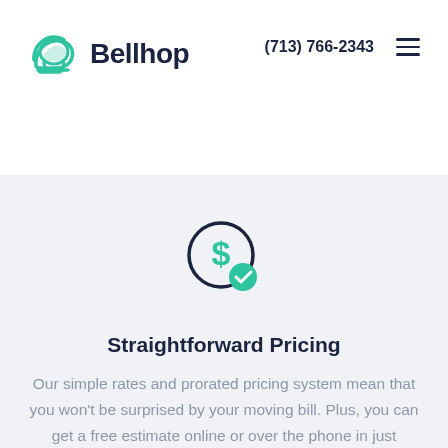[Figure (logo): Bellhop logo with green wing/bell icon and dark navy 'Bellhop' wordmark]
(713) 766-2343
[Figure (illustration): Dollar sign coin icon with green checkmark badge overlay — representing straightforward pricing]
Straightforward Pricing
Our simple rates and prorated pricing system mean that you won't be surprised by your moving bill. Plus, you can get a free estimate online or over the phone in just